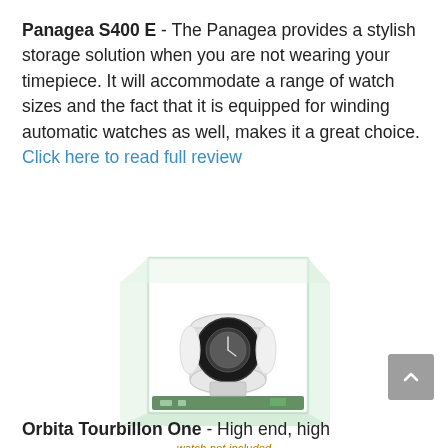Panagea S400 E - The Panagea provides a stylish storage solution when you are not wearing your timepiece. It will accommodate a range of watch sizes and the fact that it is equipped for winding automatic watches as well, makes it a great choice. Click here to read full review
[Figure (photo): A watch winder in a glass cube enclosure with a watch mounted on a cylindrical winder mechanism, displayed on a white background.]
watch not included
Orbita Tourbillon One - High end, high